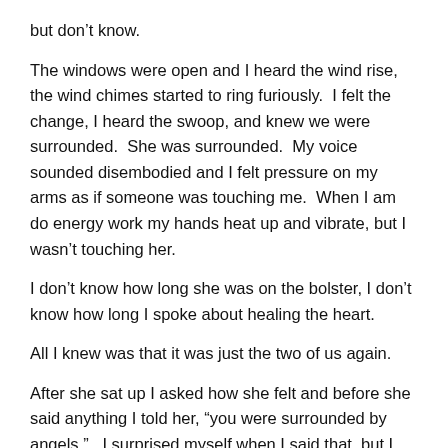but don't know.
The windows were open and I heard the wind rise, the wind chimes started to ring furiously.  I felt the change, I heard the swoop, and knew we were surrounded.  She was surrounded.  My voice sounded disembodied and I felt pressure on my arms as if someone was touching me.  When I am do energy work my hands heat up and vibrate, but I wasn't touching her.
I don't know how long she was on the bolster, I don't know how long I spoke about healing the heart.
All I knew was that it was just the two of us again.
After she sat up I asked how she felt and before she said anything I told her, “you were surrounded by angels.”   I surprised myself when I said that, but I knew it as strongly as I know my own name.  I said that the concept of angel guides had never resonated with